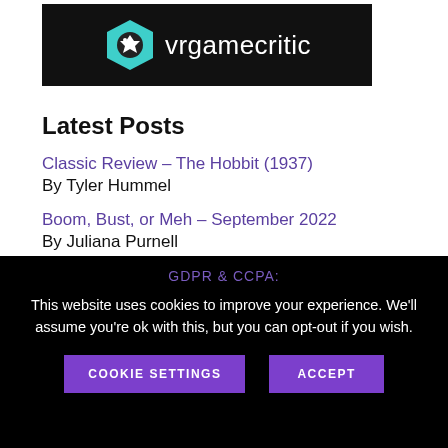[Figure (logo): VRGameCritic logo banner: black background with teal hexagonal icon and white text 'vrgamecritic']
Latest Posts
Classic Review – The Hobbit (1937)
By Tyler Hummel
Boom, Bust, or Meh – September 2022
By Juliana Purnell
Review – King of 12
By Derek Thompson
Review – Three Thousand Years of Longing
GDPR & CCPA:
This website uses cookies to improve your experience. We'll assume you're ok with this, but you can opt-out if you wish.
COOKIE SETTINGS    ACCEPT